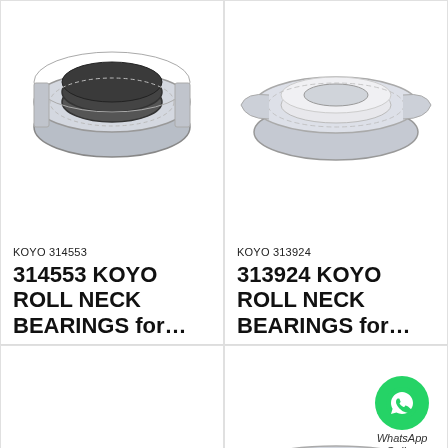[Figure (photo): KOYO 314553 roll neck bearing, cylindrical roller bearing cutaway view, metallic silver and dark, top-left product cell]
KOYO 314553
314553 KOYO ROLL NECK BEARINGS for…
[Figure (photo): KOYO 313924 roll neck bearing, spherical roller bearing, metallic silver, top-right product cell]
KOYO 313924
313924 KOYO ROLL NECK BEARINGS for…
[Figure (photo): KOYO 313811 roll neck bearing, cutaway cylindrical roller bearing with gold/brass cage, bottom-left product cell, with WhatsApp Online badge overlay]
KOYO 313811
313811 KOYO ROLL
[Figure (photo): KOYO 29FC21155 roll neck bearing, multi-row cylindrical roller bearing, metallic silver, bottom-right product cell]
KOYO 29FC21155
29FC21155 KOYO ROLL
All Products
Contact Now